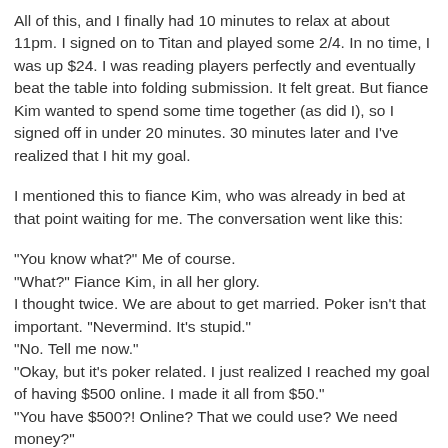All of this, and I finally had 10 minutes to relax at about 11pm. I signed on to Titan and played some 2/4. In no time, I was up $24. I was reading players perfectly and eventually beat the table into folding submission. It felt great. But fiance Kim wanted to spend some time together (as did I), so I signed off in under 20 minutes. 30 minutes later and I've realized that I hit my goal.
I mentioned this to fiance Kim, who was already in bed at that point waiting for me. The conversation went like this:
"You know what?" Me of course.
"What?" Fiance Kim, in all her glory.
I thought twice. We are about to get married. Poker isn't that important. "Nevermind. It's stupid."
"No. Tell me now."
"Okay, but it's poker related. I just realized I reached my goal of having $500 online. I made it all from $50."
"You have $500?! Online? That we could use? We need money?"
Shit. I should've kept my big mouth shut. Damage control, bring in the roundabout logic.